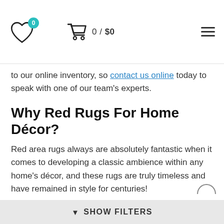0 / $0
to our online inventory, so contact us online today to speak with one of our team's experts.
Why Red Rugs For Home Décor?
Red area rugs always are absolutely fantastic when it comes to developing a classic ambience within any home's décor, and these rugs are truly timeless and have remained in style for centuries!
Feng Shui is the general design practice of striking balance between our living spaces and the natural world, and in Feng Shui our living and dining rooms are
▼ SHOW FILTERS